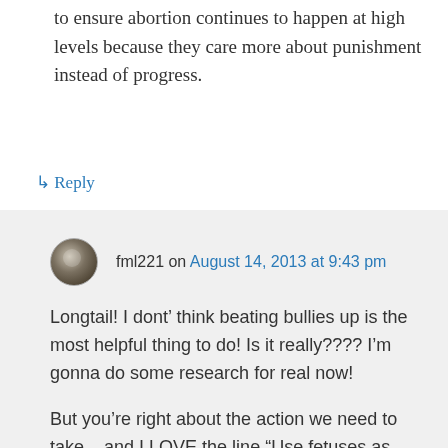to ensure abortion continues to happen at high levels because they care more about punishment instead of progress.
↳ Reply
fml221 on August 14, 2013 at 9:43 pm
Longtail! I dont’ think beating bullies up is the most helpful thing to do! Is it really???? I’m gonna do some research for real now!
But you’re right about the action we need to take – and I LOVE the line “Use fetuses as meat shields for their agendas.” Perfect.
Thanks.